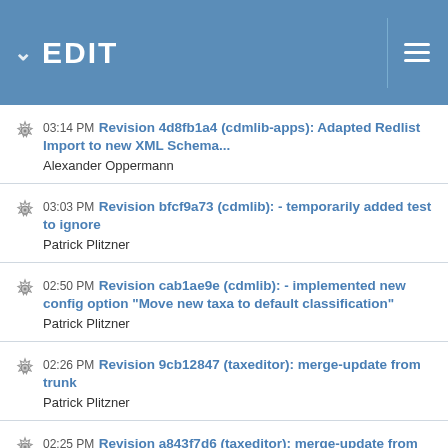EDIT
03:14 PM Revision 4d8fb1a4 (cdmlib-apps): Adapted Redlist Import to new XML Schema...
Alexander Oppermann
03:03 PM Revision bfcf9a73 (cdmlib): - temporarily added test to ignore
Patrick Plitzner
02:50 PM Revision cab1ae9e (cdmlib): - implemented new config option "Move new taxa to default classification"
Patrick Plitzner
02:26 PM Revision 9cb12847 (taxeditor): merge-update from trunk
Patrick Plitzner
02:25 PM Revision a843f7d6 (taxeditor): merge-update from trunk
Patrick Plitzner
02:18 PM Revision 8d425e15 (cdmlib): - added new config option "Move new taxa to default classification"